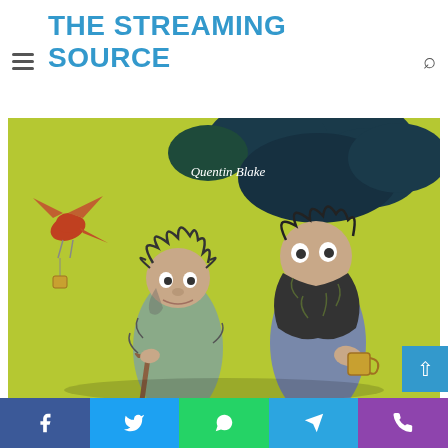THE STREAMING SOURCE
[Figure (illustration): Book cover illustration by Quentin Blake showing two grotesque characters (The Twits) on a yellow-green background with a bird. Text 'Quentin Blake' visible on cover.]
Facebook | Twitter | WhatsApp | Telegram | Viber